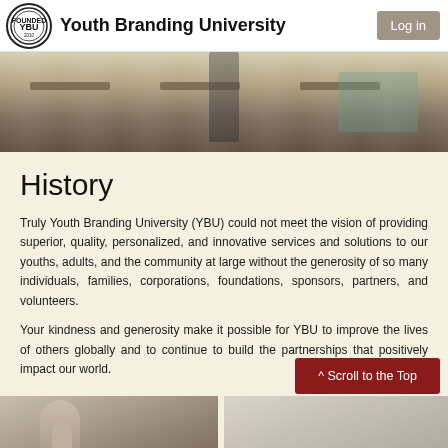Youth Branding University | Log in
[Figure (photo): Classroom photo showing student desks, a standing person in dark trousers, and a student in teal top resting on desk]
History
Truly Youth Branding University (YBU) could not meet the vision of providing superior, quality, personalized, and innovative services and solutions to our youths, adults, and the community at large without the generosity of so many individuals, families, corporations, foundations, sponsors, partners, and volunteers.
Your kindness and generosity make it possible for YBU to improve the lives of others globally and to continue to build the partnerships that positively impact our world.
[Figure (photo): Bottom strip showing partial photos of people in a classroom setting]